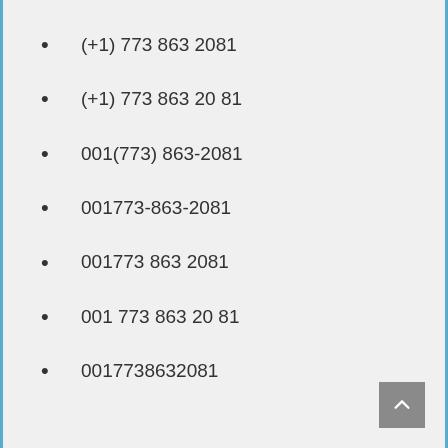(+1) 773 863 2081
(+1) 773 863 20 81
001(773) 863-2081
001773-863-2081
001773 863 2081
001 773 863 20 81
0017738632081